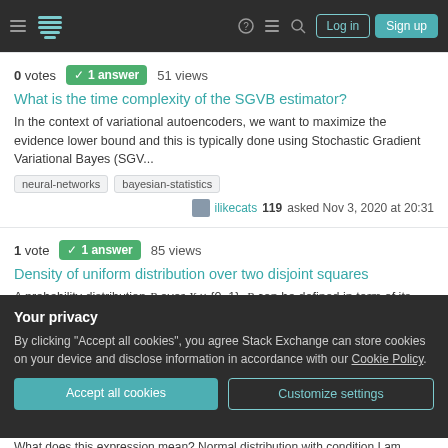Stack Exchange navigation bar with Log in and Sign up buttons
0 votes  1 answer  51 views
What is the time complexity of the SGVB estimator?
In the context of variational autoencoders, we want to maximize the evidence lower bound and this is typically done using Stochastic Gradient Variational Bayes (SGV...
neural-networks
bayesian-statistics
ilikecats 119 asked Nov 3, 2020 at 20:31
1 vote  1 answer  85 views
Density of uniform distribution over two disjoint squares
A probability distribution P over X × {0,1}. P can be defined in term of its marginal distribution over X, which we will denote by P_X, and the conditional
Your privacy
By clicking "Accept all cookies", you agree Stack Exchange can store cookies on your device and disclose information in accordance with our Cookie Policy.
Accept all cookies
Customize settings
What does this expression mean? Normal distribution with condition I am reading a